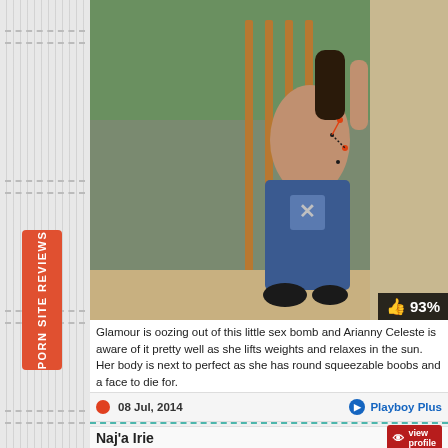[Figure (photo): Woman with tattoos in jeans posing outdoors near ornate gate]
Glamour is oozing out of this little sex bomb and Arianny Celeste is aware of it pretty well as she lifts weights and relaxes in the sun. Her body is next to perfect as she has round squeezable boobs and a face to die for.
08 Jul, 2014
Playboy Plus
93%
Naj'a Irie
view profile
PORN SITE REVIEWS